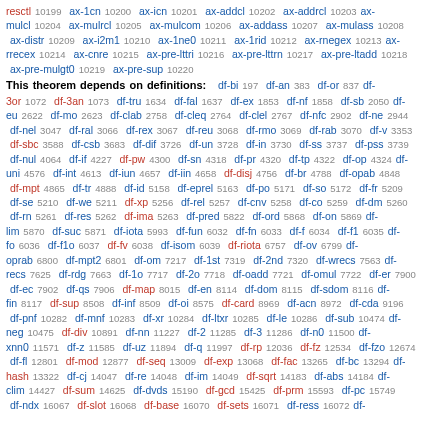resctl 10199 ax-1cn 10200 ax-icn 10201 ax-addcl 10202 ax-addrcl 10203 ax-mulcl 10204 ax-mulrcl 10205 ax-mulcom 10206 ax-addass 10207 ax-mulass 10208 ax-distr 10209 ax-i2m1 10210 ax-1ne0 10211 ax-1rid 10212 ax-rnegex 10213 ax-rrecex 10214 ax-cnre 10215 ax-pre-lttri 10216 ax-pre-lttrn 10217 ax-pre-ltadd 10218 ax-pre-mulgt0 10219 ax-pre-sup 10220
This theorem depends on definitions: df-bi 197 df-an 383 df-or 837 df-3or 1072 df-3an 1073 df-tru 1634 df-fal 1637 df-ex 1853 df-nf 1858 df-sb 2050 df-eu 2622 df-mo 2623 df-clab 2758 df-cleq 2764 df-clel 2767 df-nfc 2902 df-ne 2944 df-nel 3047 df-ral 3066 df-rex 3067 df-reu 3068 df-rmo 3069 df-rab 3070 df-v 3353 df-sbc 3588 df-csb 3683 df-dif 3726 df-un 3728 df-in 3730 df-ss 3737 df-pss 3739 df-nul 4064 df-if 4227 df-pw 4300 df-sn 4318 df-pr 4320 df-tp 4322 df-op 4324 df-uni 4576 df-int 4613 df-iun 4657 df-iin 4658 df-disj 4756 df-br 4788 df-opab 4848 df-mpt 4865 df-tr 4888 df-id 5158 df-eprel 5163 df-po 5171 df-so 5172 df-fr 5209 df-se 5210 df-we 5211 df-xp 5256 df-rel 5257 df-cnv 5258 df-co 5259 df-dm 5260 df-rn 5261 df-res 5262 df-ima 5263 df-pred 5822 df-ord 5868 df-on 5869 df-lim 5870 df-suc 5871 df-iota 5993 df-fun 6032 df-fn 6033 df-f 6034 df-f1 6035 df-fo 6036 df-f1o 6037 df-fv 6038 df-isom 6039 df-riota 6757 df-ov 6799 df-oprab 6800 df-mpt2 6801 df-om 7217 df-1st 7319 df-2nd 7320 df-wrecs 7563 df-recs 7625 df-rdg 7663 df-1o 7717 df-2o 7718 df-oadd 7721 df-omul 7722 df-er 7900 df-ec 7902 df-qs 7906 df-map 8015 df-en 8114 df-dom 8115 df-sdom 8116 df-fin 8117 df-sup 8508 df-inf 8509 df-oi 8575 df-card 8969 df-acn 8972 df-cda 9196 df-pnf 10282 df-mnf 10283 df-xr 10284 df-ltxr 10285 df-le 10286 df-sub 10474 df-neg 10475 df-div 10891 df-nn 11227 df-2 11285 df-3 11286 df-n0 11500 df-xnn0 11571 df-z 11585 df-uz 11894 df-q 11997 df-rp 12036 df-fz 12534 df-fzo 12674 df-fl 12801 df-mod 12877 df-seq 13009 df-exp 13068 df-fac 13265 df-bc 13294 df-hash 13322 df-cj 14047 df-re 14048 df-im 14049 df-sqrt 14183 df-abs 14184 df-clim 14427 df-sum 14625 df-dvds 15190 df-gcd 15425 df-prm 15593 df-pc 15749 df-ndx 16067 df-slot 16068 df-base 16070 df-sets 16071 df-ress 16072 df-